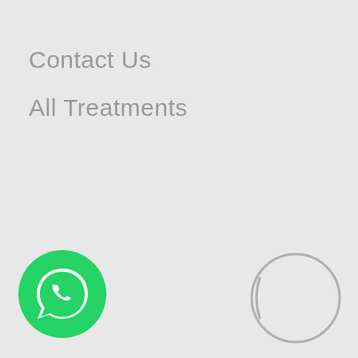Contact Us
All Treatments
[Figure (logo): DMS Injectable Cosmetic logo — grey swoosh with text 'DMS Injectable Cosmetic' in grey sans-serif and italic script]
[Figure (logo): British Skin Foundation logo — circular badge with hand print, text 'Proudly supporting' above, 'Registered Charity No. 313865' below, in purple/dark blue]
[Figure (logo): WhatsApp green circular button with white phone/chat icon]
[Figure (logo): Grey circle outline icon, partially visible]